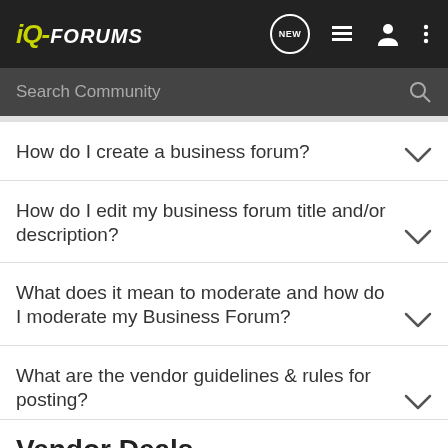iQ-FORUMS
Search Community
How do I create a business forum?
How do I edit my business forum title and/or description?
What does it mean to moderate and how do I moderate my Business Forum?
What are the vendor guidelines & rules for posting?
Vendor Deals